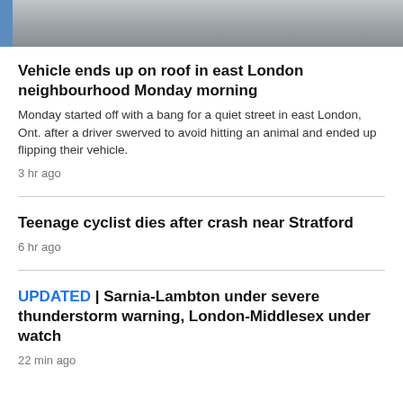[Figure (photo): Partial view of a road/pavement with a blue element on the left edge, cropped at the top of the page]
Vehicle ends up on roof in east London neighbourhood Monday morning
Monday started off with a bang for a quiet street in east London, Ont. after a driver swerved to avoid hitting an animal and ended up flipping their vehicle.
3 hr ago
Teenage cyclist dies after crash near Stratford
6 hr ago
UPDATED | Sarnia-Lambton under severe thunderstorm warning, London-Middlesex under watch
22 min ago